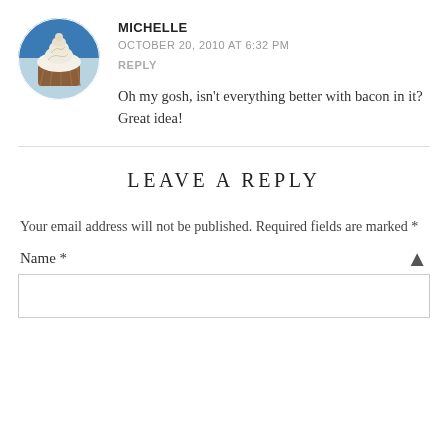[Figure (photo): Circular avatar image of a cupcake with white frosting on a blue background]
MICHELLE
OCTOBER 20, 2010 AT 6:32 PM
REPLY
Oh my gosh, isn't everything better with bacon in it? Great idea!
LEAVE A REPLY
Your email address will not be published. Required fields are marked *
Name *